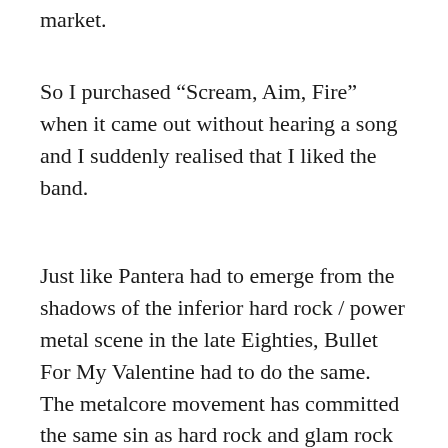market.
So I purchased “Scream, Aim, Fire” when it came out without hearing a song and I suddenly realised that I liked the band.
Just like Pantera had to emerge from the shadows of the inferior hard rock / power metal scene in the late Eighties, Bullet For My Valentine had to do the same. The metalcore movement has committed the same sin as hard rock and glam rock committed. Too many derivative bands are doing the rounds and there is no substance. With the release of “Scream, Aim, Fire”